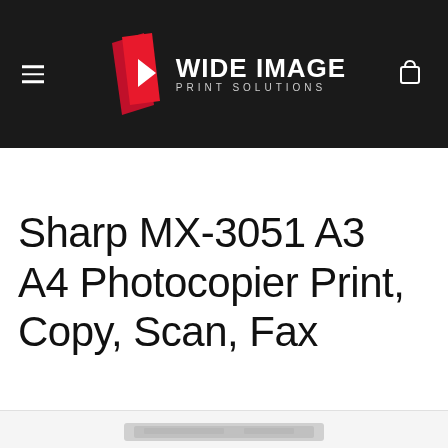[Figure (logo): Wide Image Print Solutions logo with red folded paper icon and white play button triangle, white text on dark background]
Sharp MX-3051 A3 A4 Photocopier Print, Copy, Scan, Fax
[Figure (photo): Partial view of Sharp MX-3051 photocopier machine at bottom of page]